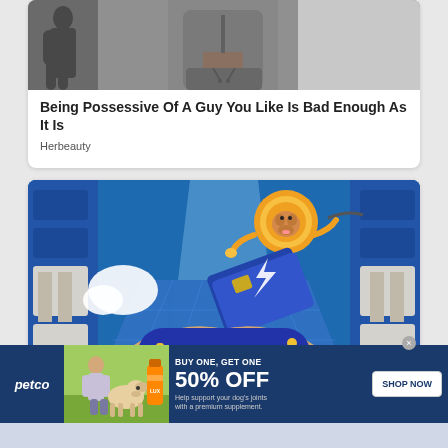[Figure (photo): Partial view of a person wearing a gray zip-up hoodie and gray pants, cropped at torso level, against a light background]
Being Possessive Of A Guy You Like Is Bad Enough As It Is
Herbeauty
[Figure (illustration): Animated/cartoon illustration of hands holding a dark blue game controller with gold buttons, with a golden coin character floating above in a futuristic blue environment with grid panels]
[Figure (photo): Petco advertisement banner: BUY ONE, GET ONE 50% OFF - Help support your dog's joints with a premium supplement. Shows a woman with a golden retriever dog and supplement product. SHOP NOW button.]